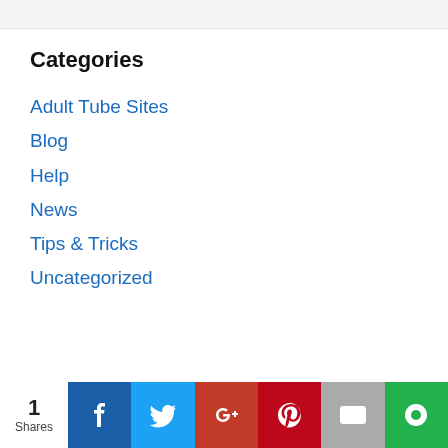Categories
Adult Tube Sites
Blog
Help
News
Tips & Tricks
Uncategorized
1 Shares | Facebook | Twitter | Google+ | Pinterest | Email | Chat